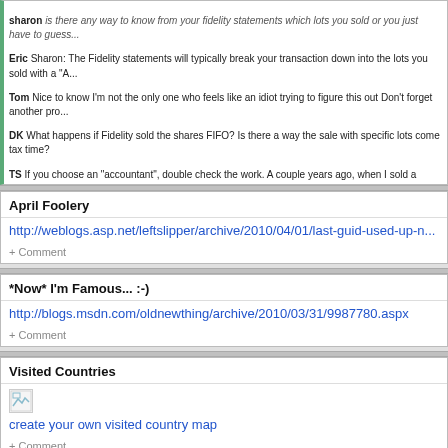Sharon: The Fidelity statements will typically break your transaction down into the lots you sold with a 'A...
Tom Nice to know I'm not the only one who feels like an idiot trying to figure this out Don't forget another pro...
DK What happens if Fidelity sold the shares FIFO? Is there a way the sale with specific lots come tax time?
TS If you choose an 'accountant', double check the work. A couple years ago, when I sold a bunch of ESPP sto...
W Shouldn't there be an app for that?
Dheeraj Yup, I had to deal with all of this this year also - many ESPP loss that were also wash sales. And lucky t...
Brad Further, Fidelity does not let you specify specific lots when you are selling your stock via a covered call o...
Eric http://www.fairmark.com/execcomp/espp/qualifying.htm is helpful.
S Thanks for your very helpful post. This year, I have all of the above including the covered call assignment. Wh...
SS @ 71.132.140.118 Eric, I was wondering what would fidelity do to 'Date Option Granted' in case of Wash s...
mw Awesome! Thanks
Brandon Zahl Eric, thanks so much for this advice! I'll be passing it along to people at work. I suspect nearly al...
Brad @ 174.61.170.166 Eric - thanks for this super helpful info! Just wanted to add that Fidelity now adds an e...
Eric Indeed, the Fidelity Supplemental Stock Plan Lot Detail info they added is useful. Another great resource is...
+ Comment
April Foolery
http://weblogs.asp.net/leftslipper/archive/2010/04/01/last-guid-used-up-n...
+ Comment
*Now* I'm Famous... :-)
http://blogs.msdn.com/oldnewthing/archive/2010/03/31/9987780.aspx
+ Comment
Visited Countries
[Figure (other): Broken image placeholder for visited country map]
create your own visited country map
+ Comment
Interesting places I should visit...